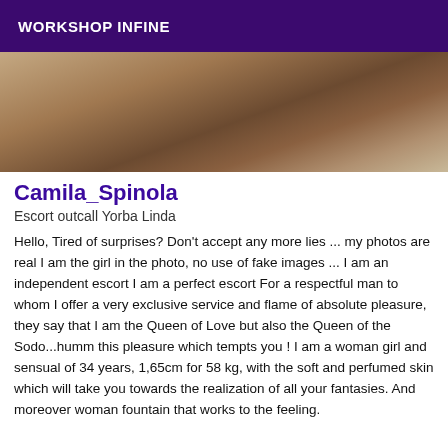WORKSHOP INFINE
[Figure (photo): Partial photo of a person lying on a bed, cropped view showing limbs and bedding in warm tones]
Camila_Spinola
Escort outcall Yorba Linda
Hello, Tired of surprises? Don't accept any more lies ... my photos are real I am the girl in the photo, no use of fake images ... I am an independent escort I am a perfect escort For a respectful man to whom I offer a very exclusive service and flame of absolute pleasure, they say that I am the Queen of Love but also the Queen of the Sodo...humm this pleasure which tempts you ! I am a woman girl and sensual of 34 years, 1,65cm for 58 kg, with the soft and perfumed skin which will take you towards the realization of all your fantasies. And moreover woman fountain that works to the feeling.